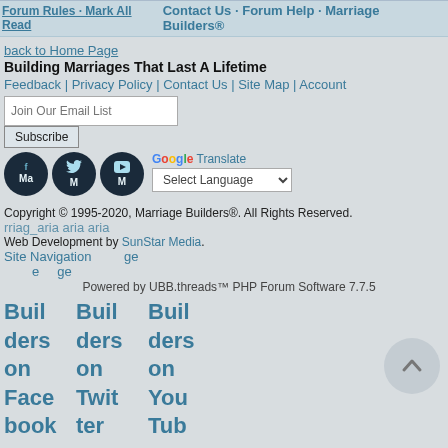Forum Rules · Mark All Read | Contact Us · Forum Help · Marriage Builders®
back to Home Page
Building Marriages That Last A Lifetime
Feedback | Privacy Policy | Contact Us | Site Map | Account
Join Our Email List [input] Subscribe [button]
[Figure (logo): Social media icons for Facebook, Twitter, YouTube (Marriage Builders) and Google Translate language selector]
Copyright © 1995-2020, Marriage Builders®. All Rights Reserved.
rriag aria aria
Web Development by SunStar Media.
Site Navigation
e ge ge
Powered by UBB.threads™ PHP Forum Software 7.7.5
Buil Buil Buil
ders ders ders
on on on
Face Twit You
book ter Tube
      e